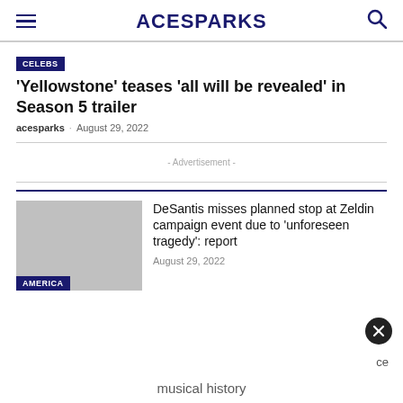ACESPARKS
'Yellowstone' teases 'all will be revealed' in Season 5 trailer
acesparks · August 29, 2022
- Advertisement -
DeSantis misses planned stop at Zeldin campaign event due to 'unforeseen tragedy': report
August 29, 2022
AMERICA
musical history